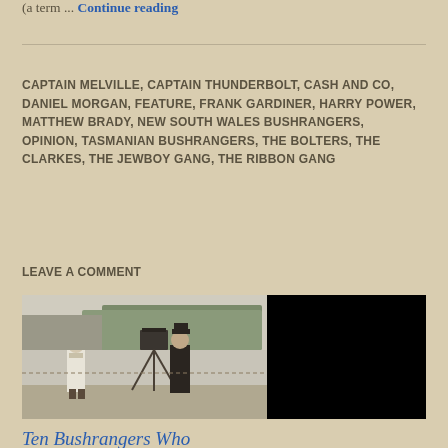(a term ... Continue reading
CAPTAIN MELVILLE, CAPTAIN THUNDERBOLT, CASH AND CO, DANIEL MORGAN, FEATURE, FRANK GARDINER, HARRY POWER, MATTHEW BRADY, NEW SOUTH WALES BUSHRANGERS, OPINION, TASMANIAN BUSHRANGERS, THE BOLTERS, THE CLARKES, THE JEWBOY GANG, THE RIBBON GANG
LEAVE A COMMENT
[Figure (photo): Black and white vintage photograph showing a cameraman with an early movie camera on a tripod, with another person standing nearby. Right half of image is black/obscured.]
Ten Bushrangers Who Deserve Their Own Movie